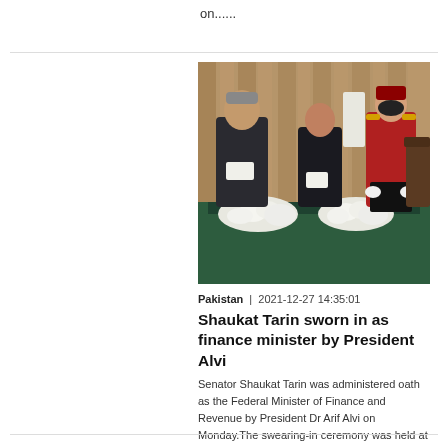on......
[Figure (photo): Swearing-in ceremony: Senator Shaukat Tarin on the left reading from papers, President Dr Arif Alvi in the center also holding documents, and a military officer in red uniform standing to the right. A table with white flowers in the foreground, curtains in the background.]
Pakistan  |  2021-12-27 14:35:01
Shaukat Tarin sworn in as finance minister by President Alvi
Senator Shaukat Tarin was administered oath as the Federal Minister of Finance and Revenue by President Dr Arif Alvi on Monday.The swearing-in ceremony was held at the Aiwan-e-Sadr in Islamabad.......